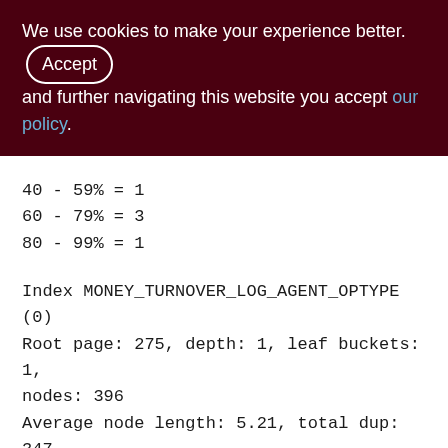We use cookies to make your experience better. By accepting and further navigating this website you accept our policy.
40 - 59% = 1
60 - 79% = 3
80 - 99% = 1
Index MONEY_TURNOVER_LOG_AGENT_OPTYPE (0)
Root page: 275, depth: 1, leaf buckets: 1, nodes: 396
Average node length: 5.21, total dup: 347, max dup: 106
Average key length: 4.20, compression ratio: 4.52
Average prefix length: 16.92, average data